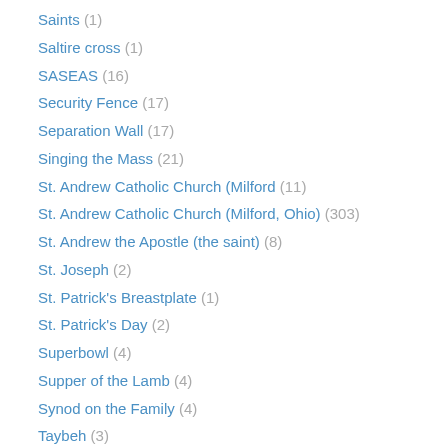Saints (1)
Saltire cross (1)
SASEAS (16)
Security Fence (17)
Separation Wall (17)
Singing the Mass (21)
St. Andrew Catholic Church (Milford (11)
St. Andrew Catholic Church (Milford, Ohio) (303)
St. Andrew the Apostle (the saint) (8)
St. Joseph (2)
St. Patrick's Breastplate (1)
St. Patrick's Day (2)
Superbowl (4)
Supper of the Lamb (4)
Synod on the Family (4)
Taybeh (3)
The Breastplate of St. Patrick (2)
The Deer's Cry (2)
Under my roof (4)
United States Conference of Catholic Bishops (...)